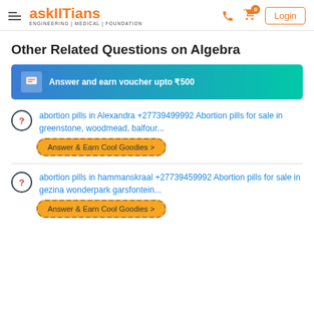askIITians ENGINEERING | MEDICAL | FOUNDATION — Login
Other Related Questions on Algebra
[Figure (infographic): Answer and earn voucher upto ₹500 banner with gradient blue-teal background]
abortion pills in Alexandra +27739499992 Abortion pills for sale in greenstone, woodmead, balfour...
abortion pills in hammanskraal +27739459992 Abortion pills for sale in gezina wonderpark garsfontein...